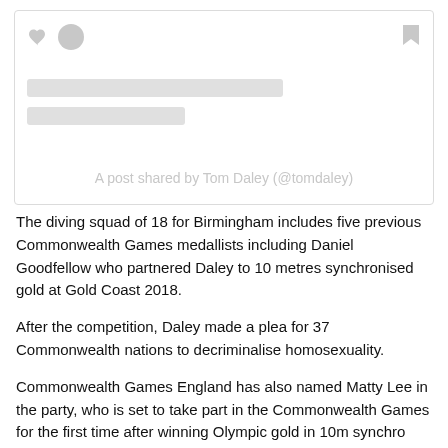[Figure (screenshot): Social media post placeholder card showing heart and circle icons on the left, a bookmark icon on the top right, two gray placeholder bars representing loading content, and a caption text reading 'A post shared by Tom Daley (@tomdaley)']
The diving squad of 18 for Birmingham includes five previous Commonwealth Games medallists including Daniel Goodfellow who partnered Daley to 10 metres synchronised gold at Gold Coast 2018.
After the competition, Daley made a plea for 37 Commonwealth nations to decriminalise homosexuality.
Commonwealth Games England has also named Matty Lee in the party, who is set to take part in the Commonwealth Games for the first time after winning Olympic gold in 10m synchro with Daley in Tokyo last year.
"I enjoy the Commonwealth Games because it's something different and it has a special place in my heart because I always wanted to go to a Commonwealth Games," Lee said.